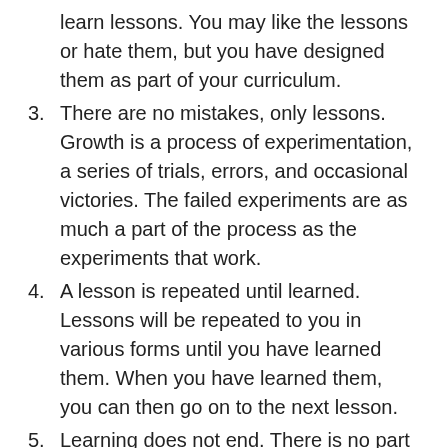(continuation) learn lessons. You may like the lessons or hate them, but you have designed them as part of your curriculum.
3. There are no mistakes, only lessons. Growth is a process of experimentation, a series of trials, errors, and occasional victories. The failed experiments are as much a part of the process as the experiments that work.
4. A lesson is repeated until learned. Lessons will be repeated to you in various forms until you have learned them. When you have learned them, you can then go on to the next lesson.
5. Learning does not end. There is no part of life that does not contain lessons. If